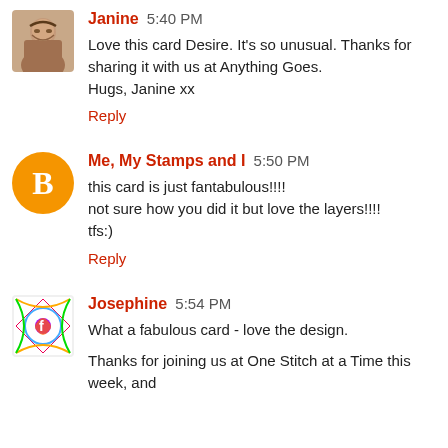Janine 5:40 PM
Love this card Desire. It's so unusual. Thanks for sharing it with us at Anything Goes.
Hugs, Janine xx
Reply
Me, My Stamps and I 5:50 PM
this card is just fantabulous!!!!
not sure how you did it but love the layers!!!!
tfs:)
Reply
Josephine 5:54 PM
What a fabulous card - love the design.

Thanks for joining us at One Stitch at a Time this week, and